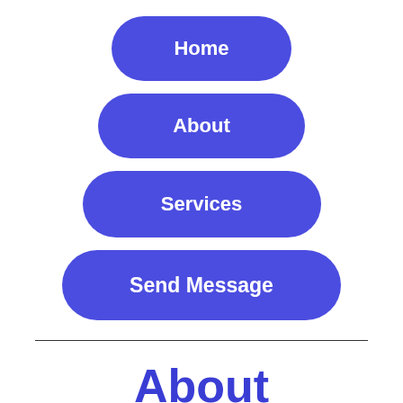Home
About
Services
Send Message
About Hypnosis